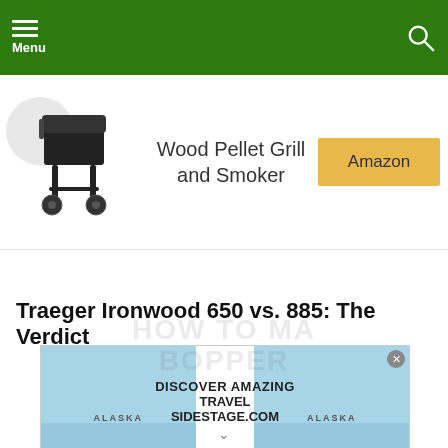Menu
[Figure (photo): Product image of a Traeger wood pellet grill/smoker on wheels, shown in a white product card area.]
Wood Pellet Grill and Smoker
Amazon
Traeger Ironwood 650 vs. 885: The Verdict
[Figure (screenshot): Advertisement overlay showing travel ad with Alaska glacier imagery and text: DISCOVER AMAZING TRAVEL SIDESTAGE.COM. A close button (x) is visible in the top right corner.]